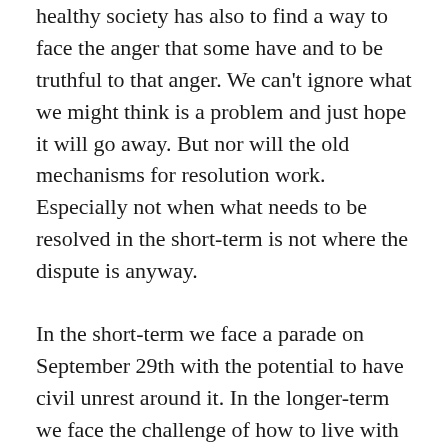healthy society has also to find a way to face the anger that some have and to be truthful to that anger. We can't ignore what we might think is a problem and just hope it will go away. But nor will the old mechanisms for resolution work. Especially not when what needs to be resolved in the short-term is not where the dispute is anyway.
In the short-term we face a parade on September 29th with the potential to have civil unrest around it. In the longer-term we face the challenge of how to live with each other even after all these years. We face the challenge of how to deal...